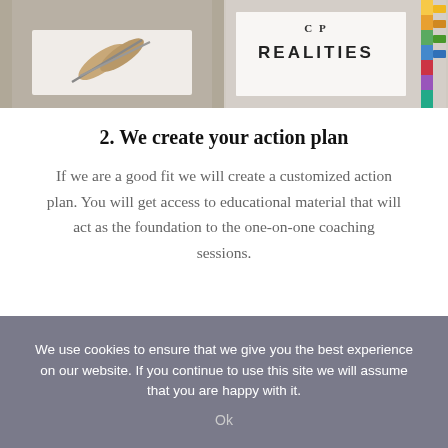[Figure (photo): Partial view of two photos side by side: left shows a scissors/craft image, right shows text reading REALITIES with colorful markers/pens on the right edge]
2. We create your action plan
If we are a good fit we will create a customized action plan. You will get access to educational material that will act as the foundation to the one-on-one coaching sessions.
We use cookies to ensure that we give you the best experience on our website. If you continue to use this site we will assume that you are happy with it.
Ok